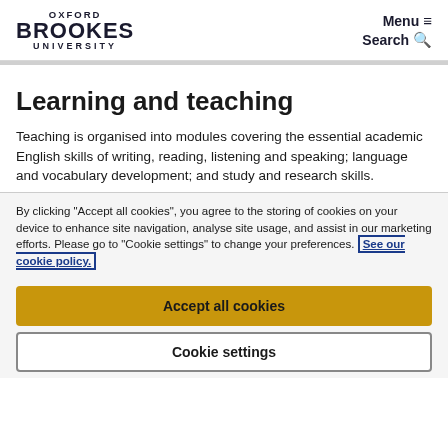OXFORD BROOKES UNIVERSITY | Menu ≡ | Search 🔍
Learning and teaching
Teaching is organised into modules covering the essential academic English skills of writing, reading, listening and speaking; language and vocabulary development; and study and research skills.
By clicking "Accept all cookies", you agree to the storing of cookies on your device to enhance site navigation, analyse site usage, and assist in our marketing efforts. Please go to "Cookie settings" to change your preferences. See our cookie policy.
Accept all cookies
Cookie settings